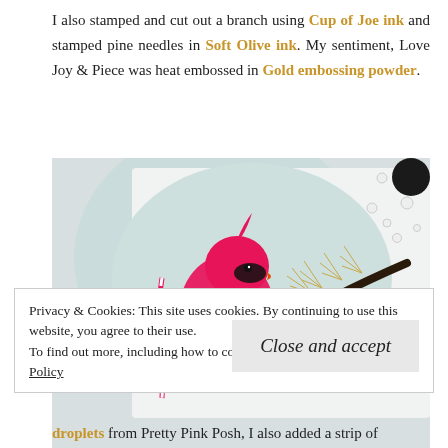I also stamped and cut out a branch using Cup of Joe ink and stamped pine needles in Soft Olive ink. My sentiment, Love Joy & Piece was heat embossed in Gold embossing powder.
[Figure (photo): Close-up photo of a handmade greeting card featuring a bright pink cardinal bird perched on a black branch with gold-stamped pine needles, set against a light teal circular background, with pearl and crystal embellishments scattered around.]
Privacy & Cookies: This site uses cookies. By continuing to use this website, you agree to their use.
To find out more, including how to control cookies, see here: Cookie Policy
Close and accept
droplets from Pretty Pink Posh, I also added a strip of